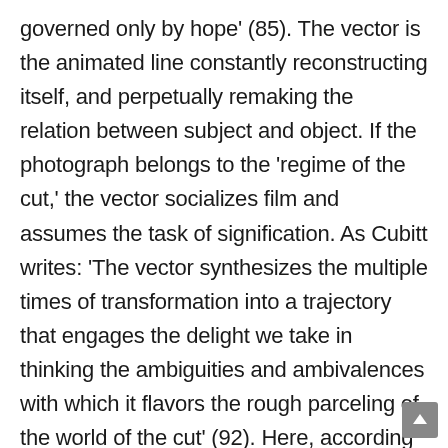governed only by hope' (85). The vector is the animated line constantly reconstructing itself, and perpetually remaking the relation between subject and object. If the photograph belongs to the 'regime of the cut,' the vector socializes film and assumes the task of signification. As Cubitt writes: 'The vector synthesizes the multiple times of transformation into a trajectory that engages the delight we take in thinking the ambiguities and ambivalences with which it flavors the rough parceling of the world of the cut' (92). Here, according to Cubitt, cinema becomes 'social' and symbolic, but instead of the negative and pessimistic entrance into the symbolic world as in Lacan, we have a resolutely communicative and open-ended, hopeful dis